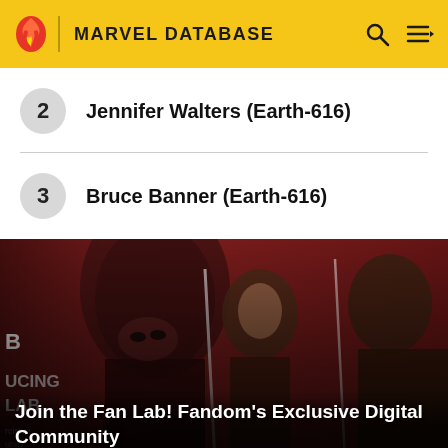MARVEL DATABASE
2  Jennifer Walters (Earth-616)
3  Bruce Banner (Earth-616)
[Figure (photo): Promotional image showing three superhero characters on a dark red background with text 'INTRODUCING FAN LAB' and 'PERKS & PRIZES / SIGN UP']
Join the Fan Lab! Fandom's Exclusive Digital Community